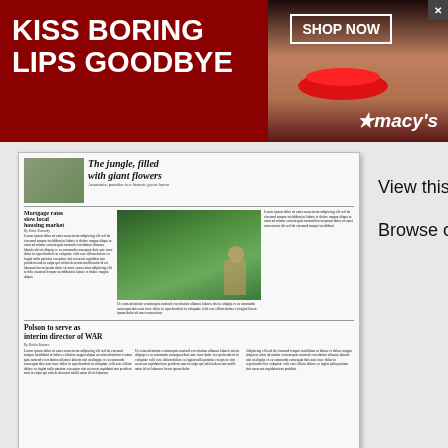[Figure (photo): Advertisement banner for Macy's with text 'KISS BORING LIPS GOODBYE', a woman's face with red lips, 'SHOP NOW' button, and Macy's star logo]
[Figure (photo): Newspaper thumbnail showing headlines: 'The jungle, filled with giant flowers', 'Mortgage rates slow local housing market', 'Polson to serve as interim director of WAR', with photos of large tropical leaves and a person]
View this issue
Browse other issues
[Figure (photo): Advertisement for Chewy.com: 'Pet Food, Products, Supplies at Low Prices - Pay the lowest prices on pet supplies at Chewy.com' with chewy.com URL and an arrow button]